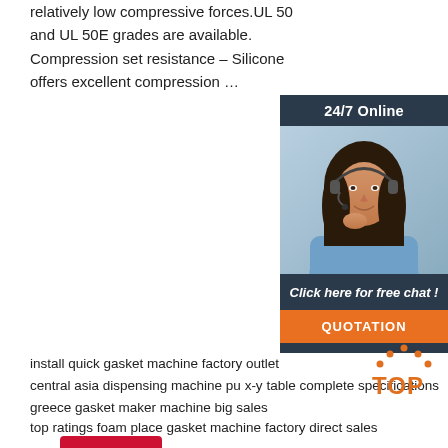relatively low compressive forces.UL 50 and UL 50E grades are available. Compression set resistance – Silicone offers excellent compression …
[Figure (other): Red 'Get Price' button]
[Figure (other): 24/7 Online chat widget with photo of woman with headset, 'Click here for free chat!' text, and orange QUOTATION button]
install quick gasket machine factory outlet
central asia dispensing machine pu x-y table complete specifications
greece gasket maker machine big sales
top ratings foam place gasket machine factory direct sales
[Figure (logo): TOP logo in orange with dots arranged in arc above text]